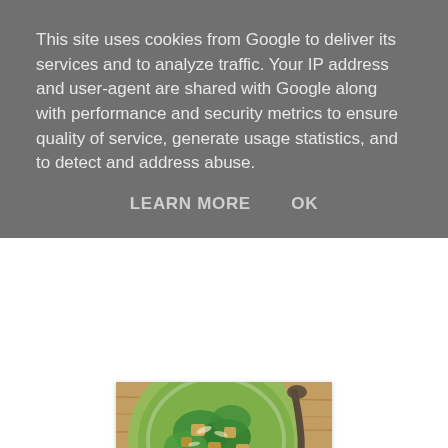This site uses cookies from Google to deliver its services and to analyze traffic. Your IP address and user-agent are shared with Google along with performance and security metrics to ensure quality of service, generate usage statistics, and to detect and address abuse.
LEARN MORE    OK
[Figure (photo): Overhead photo of a green bowl containing Brussel Caesar Salad with Bacon Croutons, with bread croutons, green vegetables, and shaved parmesan, placed on a wooden cutting board with a dark spoon visible]
Brussel Caesar Salad with Bacon Croutons
I know what you're thinking. Warm brussel sprouts in a salad? But trust me when I tell you that this recipe from the How Sweet It Is blog is amazing. And come on, BACON FAT CIABATTA CROUTONS. What's not to love?